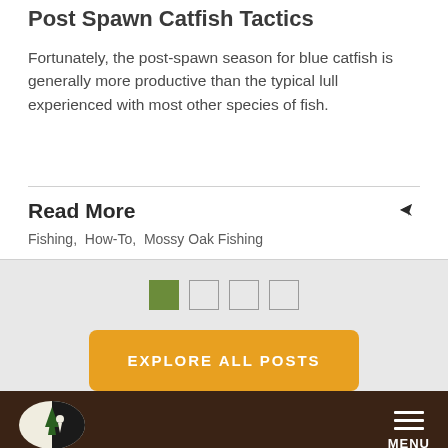Post Spawn Catfish Tactics
Fortunately, the post-spawn season for blue catfish is generally more productive than the typical lull experienced with most other species of fish.
Read More
Fishing,  How-To,  Mossy Oak Fishing
[Figure (other): Pagination dots: one filled green square and three empty squares]
[Figure (other): Orange button with text EXPLORE ALL POSTS]
[Figure (logo): Mossy Oak logo with tree and deer silhouette in oval, red MOSSY OAK text below, on dark wood-textured footer bar with MENU hamburger icon on right]